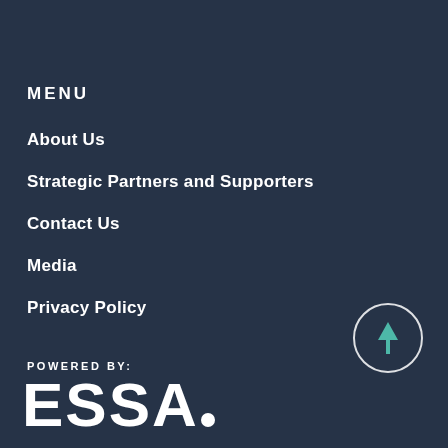MENU
About Us
Strategic Partners and Supporters
Contact Us
Media
Privacy Policy
POWERED BY:
[Figure (logo): ESSA logo in white text on dark background]
[Figure (other): Circular scroll-to-top button with upward arrow in teal]